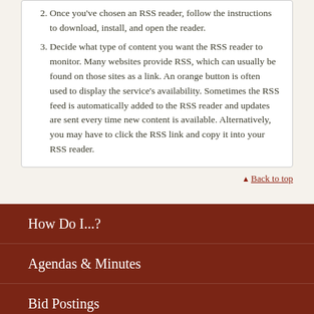Once you've chosen an RSS reader, follow the instructions to download, install, and open the reader.
Decide what type of content you want the RSS reader to monitor. Many websites provide RSS, which can usually be found on those sites as a link. An orange button is often used to display the service's availability. Sometimes the RSS feed is automatically added to the RSS reader and updates are sent every time new content is available. Alternatively, you may have to click the RSS link and copy it into your RSS reader.
▲ Back to top
How Do I...?
Agendas & Minutes
Bid Postings
Calendar of Events
Code of Ordinances